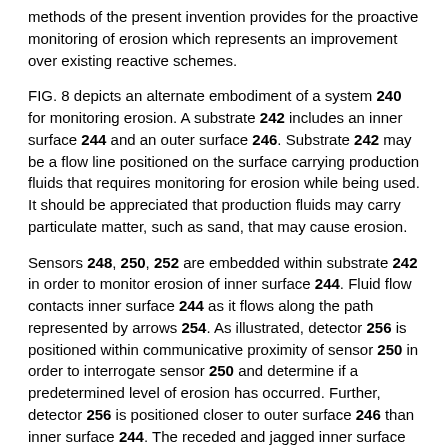methods of the present invention provides for the proactive monitoring of erosion which represents an improvement over existing reactive schemes.
FIG. 8 depicts an alternate embodiment of a system 240 for monitoring erosion. A substrate 242 includes an inner surface 244 and an outer surface 246. Substrate 242 may be a flow line positioned on the surface carrying production fluids that requires monitoring for erosion while being used. It should be appreciated that production fluids may carry particulate matter, such as sand, that may cause erosion.
Sensors 248, 250, 252 are embedded within substrate 242 in order to monitor erosion of inner surface 244. Fluid flow contacts inner surface 244 as it flows along the path represented by arrows 254. As illustrated, detector 256 is positioned within communicative proximity of sensor 250 in order to interrogate sensor 250 and determine if a predetermined level of erosion has occurred. Further, detector 256 is positioned closer to outer surface 246 than inner surface 244. The receded and jagged inner surface 244 indicates that some level of erosion has occurred, however, the erosion has not disabled sensor 250.